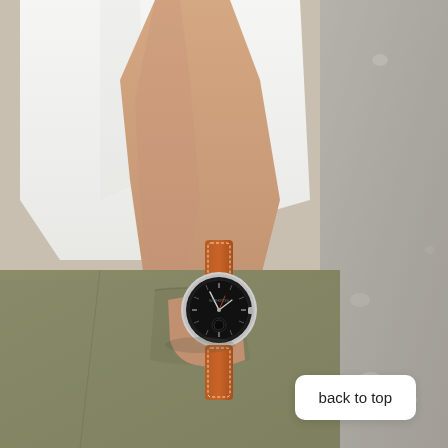[Figure (photo): A person wearing a white t-shirt and olive/khaki cargo pants with one hand in their pocket, wearing a watch with a dark dial and brown leather strap with white stitching on their wrist. The background is a grey concrete or stone wall. The image is a lifestyle/fashion photo showcasing the watch.]
back to top